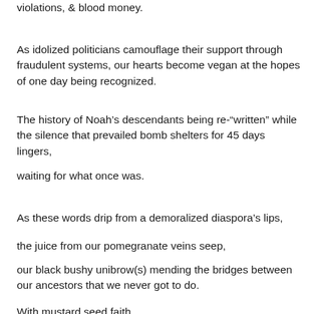violations, & blood money.
As idolized politicians camouflage their support through fraudulent systems, our hearts become vegan at the hopes of one day being recognized.
The history of Noah’s descendants being re-“written” while the silence that prevailed bomb shelters for 45 days lingers,
waiting for what once was.
As these words drip from a demoralized diaspora’s lips,
the juice from our pomegranate veins seep,
our black bushy unibrow(s) mending the bridges between our ancestors that we never got to do.
With mustard seed faith,